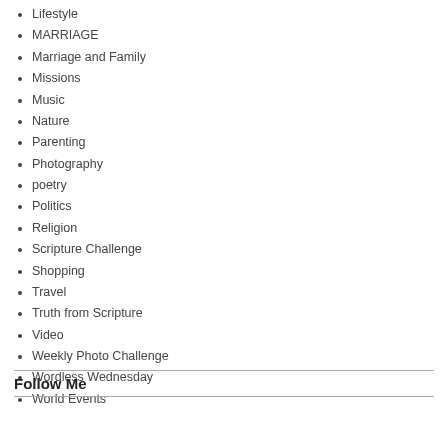Lifestyle
MARRIAGE
Marriage and Family
Missions
Music
Nature
Parenting
Photography
poetry
Politics
Religion
Scripture Challenge
Shopping
Travel
Truth from Scripture
Video
Weekly Photo Challenge
Wordless Wednesday
World Events
Follow Me